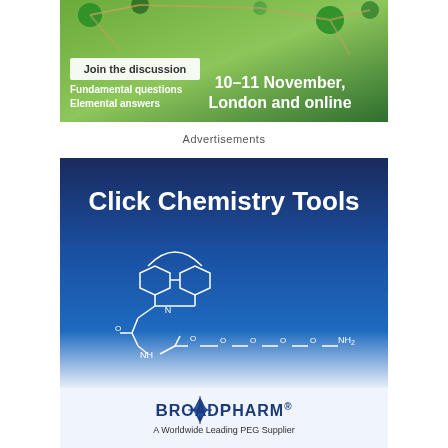[Figure (illustration): Advertisement banner with green molecular structure background. Text reads: 'Join the discussion', 'Fundamental questions Elemental answers', '10–11 November, London and online']
Advertisements
[Figure (illustration): BroadPharm advertisement banner. Blue gradient background with white text 'Click Chemistry Tools', chemical structure of DBCO-PEG-NH2 molecule drawn in white lines. Bottom section shows BroadPharm logo and tagline 'A Worldwide Leading PEG Supplier']